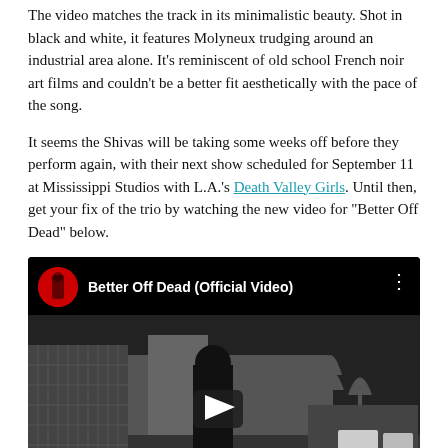The video matches the track in its minimalistic beauty. Shot in black and white, it features Molyneux trudging around an industrial area alone. It's reminiscent of old school French noir art films and couldn't be a better fit aesthetically with the pace of the song.
It seems the Shivas will be taking some weeks off before they perform again, with their next show scheduled for September 11 at Mississippi Studios with L.A.'s Death Valley Girls. Until then, get your fix of the trio by watching the new video for "Better Off Dead" below.
[Figure (screenshot): Embedded YouTube video player showing 'Better Off Dead (Official Video)' with a black and white thumbnail of a person silhouetted against an industrial/urban background with trees. A play button is visible in the center.]